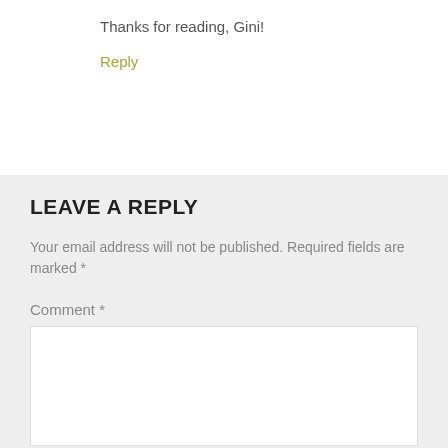Thanks for reading, Gini!
Reply
LEAVE A REPLY
Your email address will not be published. Required fields are marked *
Comment *